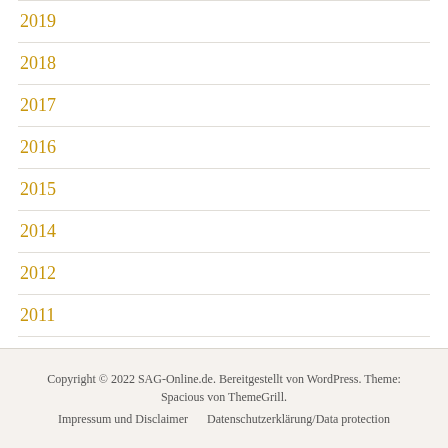2019
2018
2017
2016
2015
2014
2012
2011
2010
Copyright © 2022 SAG-Online.de. Bereitgestellt von WordPress. Theme: Spacious von ThemeGrill.
Impressum und Disclaimer    Datenschutzerklärung/Data protection